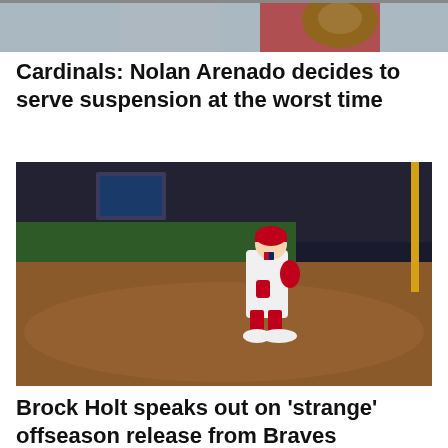[Figure (photo): Baseball action photo showing a fielder with glove, partially cropped at top of page]
Cardinals: Nolan Arenado decides to serve suspension at the worst time
[Figure (photo): Baseball player in white uniform with red socks crouching on the infield dirt at night, stadium lights in background]
Brock Holt speaks out on ‘strange’ offseason release from Braves